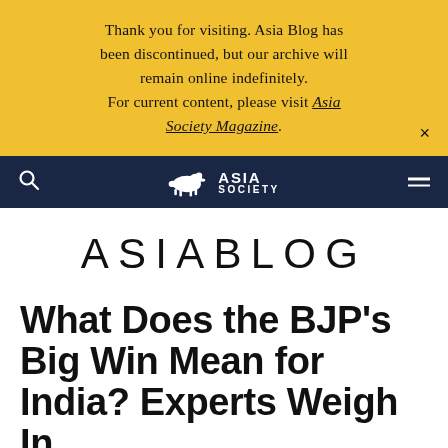Thank you for visiting. Asia Blog has been discontinued, but our archive will remain online indefinitely. For current content, please visit Asia Society Magazine.
[Figure (logo): Asia Society logo with tiger icon and text ASIA SOCIETY on dark navy navigation bar]
ASIABLOG
What Does the BJP's Big Win Mean for India? Experts Weigh In